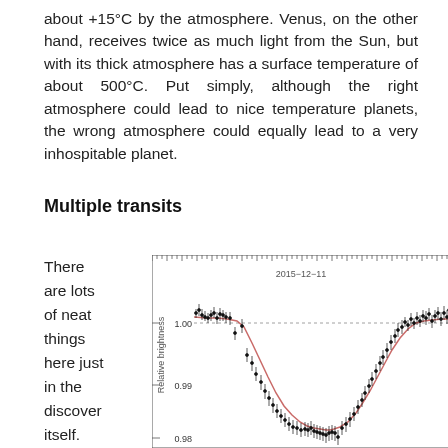about +15°C by the atmosphere. Venus, on the other hand, receives twice as much light from the Sun, but with its thick atmosphere has a surface temperature of about 500°C. Put simply, although the right atmosphere could lead to nice temperature planets, the wrong atmosphere could equally lead to a very inhospitable planet.
Multiple transits
There are lots of neat things here just in the discover itself. For
[Figure (continuous-plot): Transit light curve plot dated 2015-12-11. X-axis shows time (tick marks visible), Y-axis shows Relative brightness ranging from approximately 0.98 to above 1.00. A dotted horizontal reference line at 1.00. Data points (black dots with error bars) show a transit dip reaching approximately 0.981 minimum. A red fitted curve follows the transit shape through the data points.]